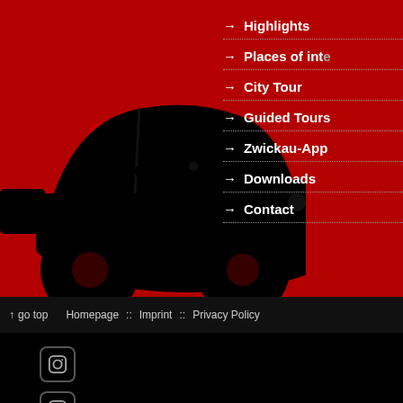[Figure (illustration): Red background with black silhouette of a vintage car and stylized Z letters in red on the left side of the page]
→ Highlights
→ Places of inte...
→ City Tour
→ Guided Tours
→ Zwickau-App
→ Downloads
→ Contact
↑ go top   Homepage :: Imprint :: Privacy Policy
[Figure (logo): Instagram icon (rounded square with circle inside)]
[Figure (logo): Facebook icon (rounded square with f letter)]